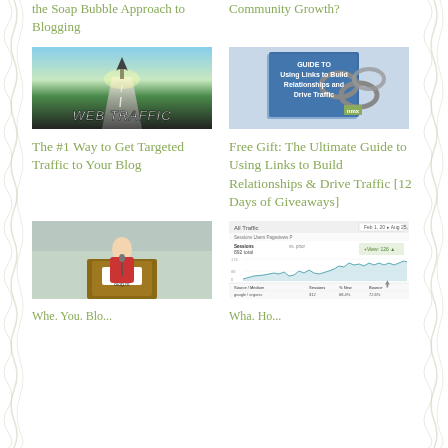the Soap Bubble Approach to Blogging
Community Growth?
[Figure (photo): Dramatic road perspective with 'WEB TRAFFIC' text and an arrow pointing upward into the sky]
The #1 Way to Get Targeted Traffic to Your Blog
[Figure (photo): Book cover titled 'Guide to Using Links to Build Relationships and Drive Traffic' with chain links, NMX logo]
Free Gift: The Ultimate Guide to Using Links to Build Relationships & Drive Traffic [12 Days of Giveaways]
[Figure (photo): Person in red jacket speaking at a podium with NMX branding at what appears to be a blogging conference]
Whe. You. Blo...
[Figure (screenshot): Google Analytics screenshot showing traffic stats, a line/area chart of sessions over time, and a sources table]
Wha. Ho...